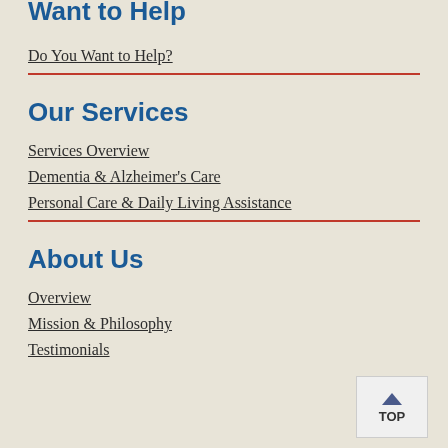Want to Help
Do You Want to Help?
Our Services
Services Overview
Dementia & Alzheimer's Care
Personal Care & Daily Living Assistance
About Us
Overview
Mission & Philosophy
Testimonials